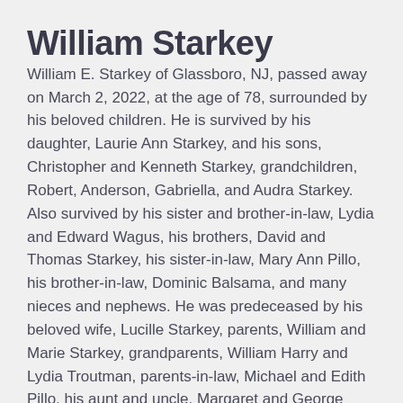William Starkey
William E. Starkey of Glassboro, NJ, passed away on March 2, 2022, at the age of 78, surrounded by his beloved children. He is survived by his daughter, Laurie Ann Starkey, and his sons, Christopher and Kenneth Starkey, grandchildren, Robert, Anderson, Gabriella, and Audra Starkey. Also survived by his sister and brother-in-law, Lydia and Edward Wagus, his brothers, David and Thomas Starkey, his sister-in-law, Mary Ann Pillo, his brother-in-law, Dominic Balsama, and many nieces and nephews. He was predeceased by his beloved wife, Lucille Starkey, parents, William and Marie Starkey, grandparents, William Harry and Lydia Troutman, parents-in-law, Michael and Edith Pillo, his aunt and uncle, Margaret and George Nixon, his sister, Catherine Troutman, his sisters-in-law, Teresa Procacci and Joan Balsama, and his brothers-in-law, Michael and